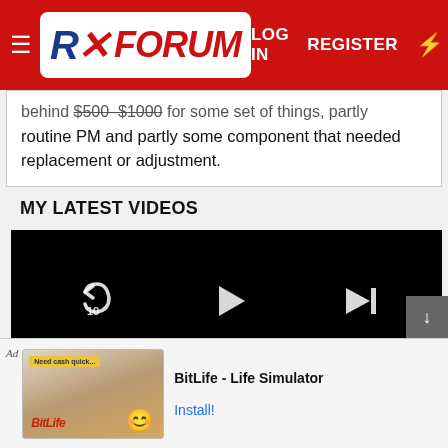RX FORUM — LOG IN  REGISTER
behind $500-$1000 for some set of things, partly routine PM and partly some component that needed replacement or adjustment.
MY LATEST VIDEOS
[Figure (screenshot): Video player showing a black screen with playback controls: rewind-10, play, and skip-next buttons in the center; a progress bar; volume mute icon, time display 00:00 / 33:33, grid, settings, and fullscreen icons at the bottom.]
[Figure (screenshot): Advertisement banner for BitLife - Life Simulator app with Install button]